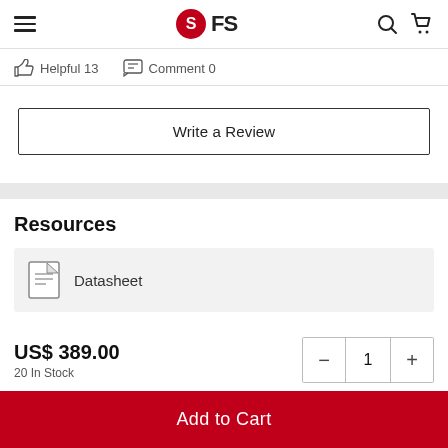FS
👍 Helpful 13   💬 Comment 0
Write a Review
Resources
Datasheet
US$ 389.00
20 In Stock
Add to Cart